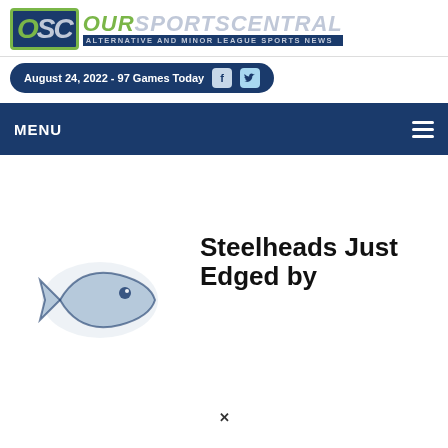[Figure (logo): OurSportsCentral logo with OSC icon and tagline 'Alternative and Minor League Sports News']
August 24, 2022 - 97 Games Today
MENU
[Figure (logo): Steelheads team logo - partial fish/hockey logo in blue and white]
Steelheads Just Edged by